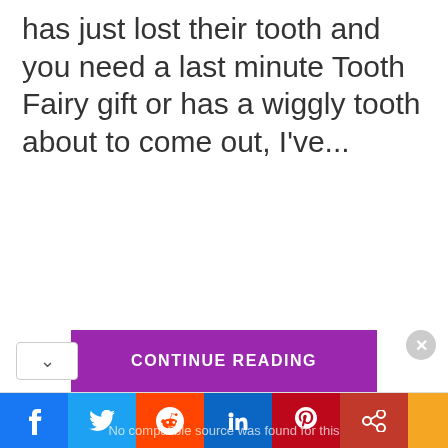has just lost their tooth and you need a last minute Tooth Fairy gift or has a wiggly tooth about to come out, I've...
[Figure (screenshot): Purple 'CONTINUE READING' button centered on page]
Social share bar with Facebook, Twitter, Reddit, LinkedIn, Pinterest, share icons